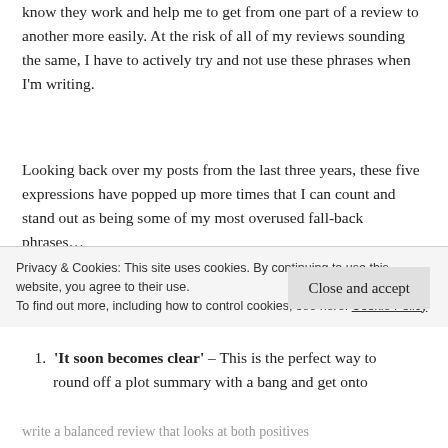know they work and help me to get from one part of a review to another more easily. At the risk of all of my reviews sounding the same, I have to actively try and not use these phrases when I'm writing.
Looking back over my posts from the last three years, these five expressions have popped up more times that I can count and stand out as being some of my most overused fall-back phrases…
'It soon becomes clear' – This is the perfect way to round off a plot summary with a bang and get onto
Privacy & Cookies: This site uses cookies. By continuing to use this website, you agree to their use.
To find out more, including how to control cookies, see here: Cookie Policy
write a balanced review that looks at both positives